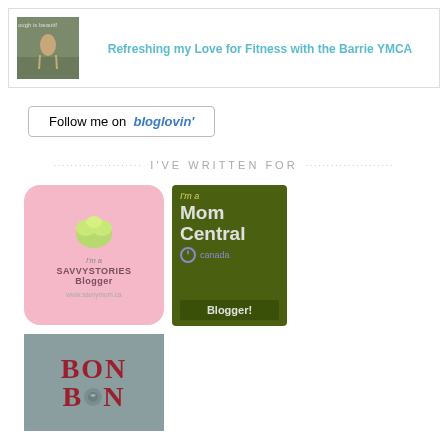[Figure (illustration): Blog post card with thumbnail image of a person outdoors and link title 'Refreshing my Love for Fitness with the Barrie YMCA']
[Figure (logo): Follow me on bloglovin' button]
I'VE WRITTEN FOR
[Figure (logo): I'm a SavvyStories Blogger badge - pink rounded square with green leaf icon and text 'www.savvymom.ca']
[Figure (logo): I'm a Mom Central Canada Blogger badge - dark green square badge]
[Figure (logo): BonBon break badge - grey/teal square with large BON BON text in red/maroon]